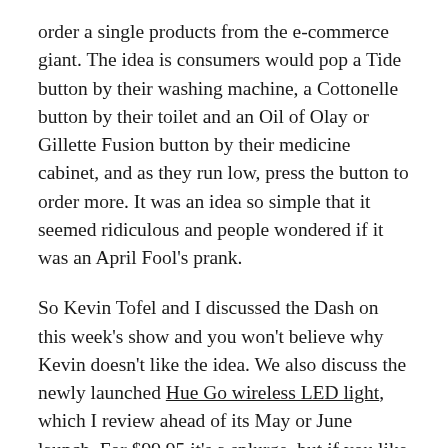order a single products from the e-commerce giant. The idea is consumers would pop a Tide button by their washing machine, a Cottonelle button by their toilet and an Oil of Olay or Gillette Fusion button by their medicine cabinet, and as they run low, press the button to order more. It was an idea so simple that it seemed ridiculous and people wondered if it was an April Fool's prank.
So Kevin Tofel and I discussed the Dash on this week's show and you won't believe why Kevin doesn't like the idea. We also discuss the newly launched Hue Go wireless LED light, which I review ahead of its May or June launch. For $99.95 it's a splurge, but if you like lights, I think it makes a nice gift. We kicked off the show with me sharing a segment that I recorded with Nightline, the ABC late-night news program. The show came to my home and hired a hacker to film a segment on smart